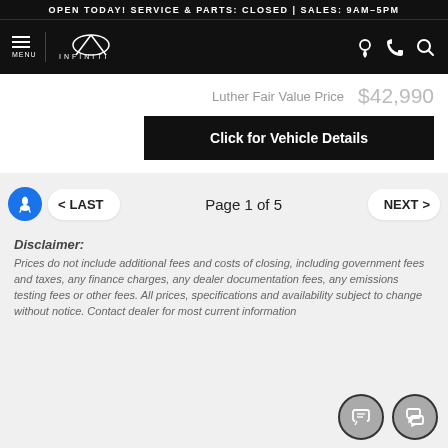OPEN TODAY! SERVICE & PARTS: CLOSED | SALES: 9AM-5PM
[Figure (logo): Infiniti dealership navigation bar with menu icon, Infiniti logo, and icons for location, phone, and search]
Luther Fair Value Price   $42,990
Click for Vehicle Details
< LAST   Page 1 of 5   NEXT >
Disclaimer:
Prices do not include additional fees and costs of closing, including government fees and taxes, any finance charges, any dealer documentation fees, any emissions testing fees or other fees. All prices, specifications and availability subject to change without notice. Contact dealer for most current information